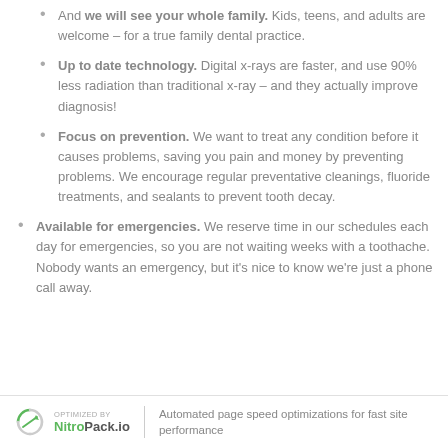And we will see your whole family. Kids, teens, and adults are welcome – for a true family dental practice.
Up to date technology. Digital x-rays are faster, and use 90% less radiation than traditional x-ray – and they actually improve diagnosis!
Focus on prevention. We want to treat any condition before it causes problems, saving you pain and money by preventing problems. We encourage regular preventative cleanings, fluoride treatments, and sealants to prevent tooth decay.
Available for emergencies. We reserve time in our schedules each day for emergencies, so you are not waiting weeks with a toothache. Nobody wants an emergency, but it's nice to know we're just a phone call away.
OPTIMIZED BY NitroPack.io | Automated page speed optimizations for fast site performance